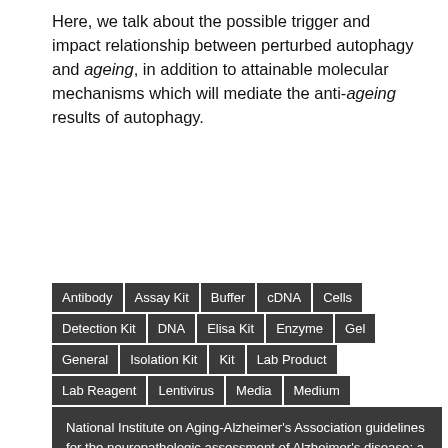Here, we talk about the possible trigger and impact relationship between perturbed autophagy and ageing, in addition to attainable molecular mechanisms which will mediate the anti-ageing results of autophagy.
Antibody
Assay Kit
Buffer
cDNA
Cells
Detection Kit
DNA
Elisa Kit
Enzyme
Gel
General
Isolation Kit
Kit
Lab Product
Lab Reagent
Lentivirus
Media
Medium
National Institute on Aging-Alzheimer's Association guidelines for the neuropathologic assessment of Alzheimer's disease: a practical approach.
Pcr Kit
Peptide
Protein
qPcr Kit
Reagent
Recombinant Protein
RNA
Serum
Slide